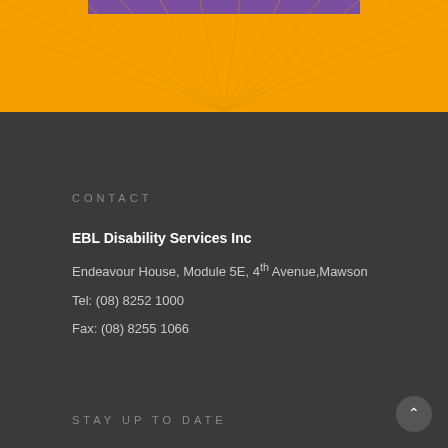[Figure (illustration): Orange background section with decorative sunburst/ray pattern in darker orange, and a purple horizontal bar near the top center]
CONTACT
EBL Disability Services Inc
Endeavour House, Module 5E, 4th Avenue, Mawson
Tel: (08) 8252 1000
Fax: (08) 8255 1066
STAY UP TO DATE